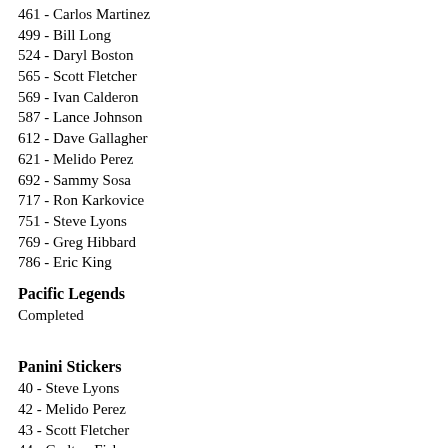461 - Carlos Martinez
499 - Bill Long
524 - Daryl Boston
565 - Scott Fletcher
569 - Ivan Calderon
587 - Lance Johnson
612 - Dave Gallagher
621 - Melido Perez
692 - Sammy Sosa
717 - Ron Karkovice
751 - Steve Lyons
769 - Greg Hibbard
786 - Eric King
Pacific Legends
Completed
Panini Stickers
40 - Steve Lyons
42 - Melido Perez
43 - Scott Fletcher
44 - Carlton Fisk
45 - Greg Walker
46 - Dave Gallagher
47 - Ivan Calderon